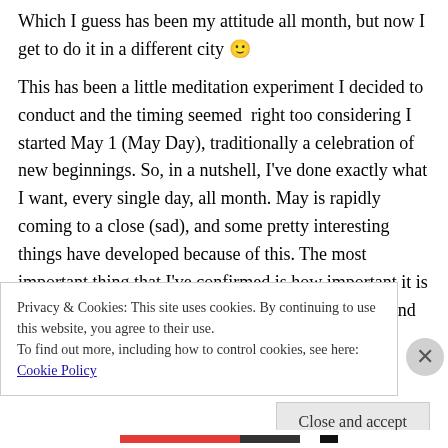Which I guess has been my attitude all month, but now I get to do it in a different city 🙂
This has been a little meditation experiment I decided to conduct and the timing seemed  right too considering I started May 1 (May Day), traditionally a celebration of new beginnings. So, in a nutshell, I've done exactly what I want, every single day, all month. May is rapidly coming to a close (sad), and some pretty interesting things have developed because of this. The most important thing that I've confirmed is how important it is to make myself happy first, before anyone else. To find MY joy, MY peace, MY
Privacy & Cookies: This site uses cookies. By continuing to use this website, you agree to their use.
To find out more, including how to control cookies, see here: Cookie Policy
Close and accept